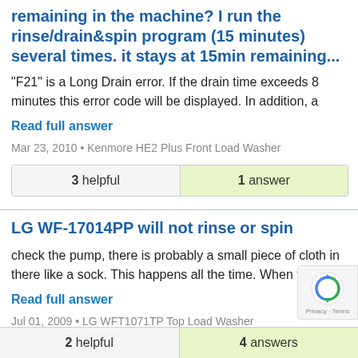remaining in the machine? I run the rinse/drain&spin program (15 minutes) several times. it stays at 15min remaining...
"F21" is a Long Drain error. If the drain time exceeds 8 minutes this error code will be displayed. In addition, a
Read full answer
Mar 23, 2010 • Kenmore HE2 Plus Front Load Washer
| 3 helpful | 1 answer |
| --- | --- |
LG WF-17014PP will not rinse or spin
check the pump, there is probably a small piece of cloth in there like a sock. This happens all the time. When the
Read full answer
Jul 01, 2009 • LG WFT1071TP Top Load Washer
| 2 helpful | 4 answers |
| --- | --- |